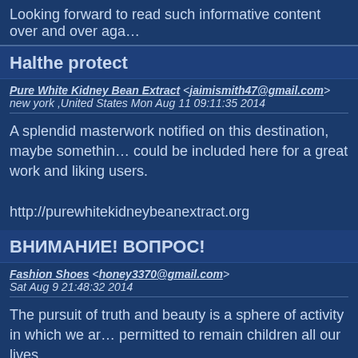Looking forward to read such informative content over and over aga…
Halthe protect
Pure White Kidney Bean Extract <jaimismith47@gmail.com>
new york ,United States Mon Aug 11 09:11:35 2014
A splendid masterwork notified on this destination, maybe somethin… could be included here for a great work and liking users.

http://purewhitekidneybeanextract.org
ВНИМАНИЕ! ВОПРОС!
Fashion Shoes <honey3370@gmail.com>
Sat Aug 9 21:48:32 2014
The pursuit of truth and beauty is a sphere of activity in which we ar… permitted to remain children all our lives.
alphafuelxts.webs.com